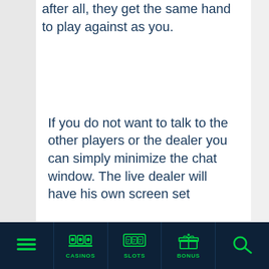after all, they get the same hand to play against as you.
If you do not want to talk to the other players or the dealer you can simply minimize the chat window. The live dealer will have his own screen set
CASINOS | SLOTS | BONUS